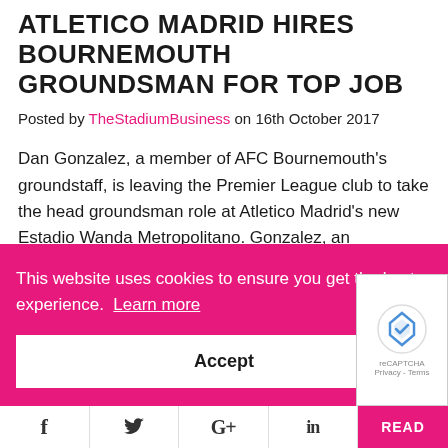ATLETICO MADRID HIRES BOURNEMOUTH GROUNDSMAN FOR TOP JOB
Posted by TheStadiumBusiness on 16th October 2017
Dan Gonzalez, a member of AFC Bournemouth's groundstaff, is leaving the Premier League club to take the head groundsman role at Atletico Madrid's new Estadio Wanda Metropolitano. Gonzalez, an
This website uses cookies to ensure you get the best experience. Learn more
Accept